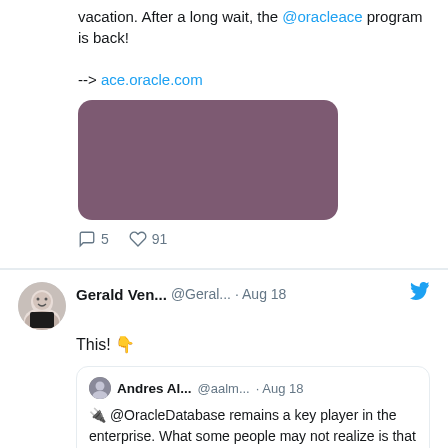vacation. After a long wait, the @oracleace program is back!

--> ace.oracle.com
[Figure (illustration): Mauve/purple rounded rectangle image placeholder]
5 replies  91 likes
Gerald Ven... @Geral... · Aug 18  This! 👇
Andres Al... @aalm... · Aug 18
🔌 @OracleDatabase remains a key player in the enterprise. What some people may not realize is that there are FREE tools & options that you may use to interact with the ...